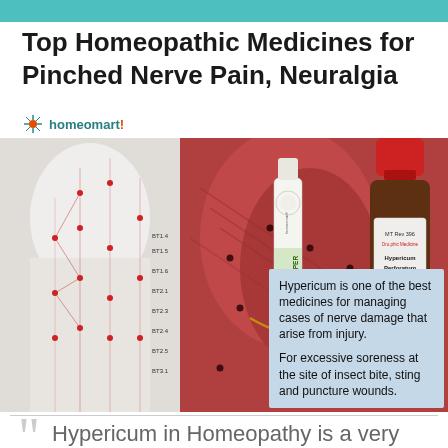Top Homeopathic Medicines for Pinched Nerve Pain, Neuralgia
[Figure (photo): Composite image showing an acupuncture/back muscle anatomy diagram on the left and a homeopathic medicine product image (Hypericum Perforatum bottle and dropper) on the right, with a blue info box overlay reading: 'Hypericum is one of the best medicines for managing cases of nerve damage that arise from injury. For excessive soreness at the site of insect bite, sting and puncture wounds.']
Hypericum is one of the best medicines for managing cases of nerve damage that arise from injury.
For excessive soreness at the site of insect bite, sting and puncture wounds.
Hypericum in Homeopathy is a very